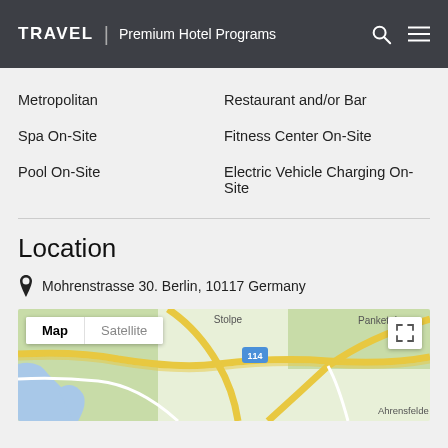TRAVEL | Premium Hotel Programs
Metropolitan
Restaurant and/or Bar
Spa On-Site
Fitness Center On-Site
Pool On-Site
Electric Vehicle Charging On-Site
Location
Mohrenstrasse 30. Berlin, 10117 Germany
[Figure (map): Google Map showing Berlin area around Mohrenstrasse 30, with Map/Satellite toggle and fullscreen expand button. Shows streets, green areas, road 114, localities Stolpe, Panketal, Ahrensfelde.]